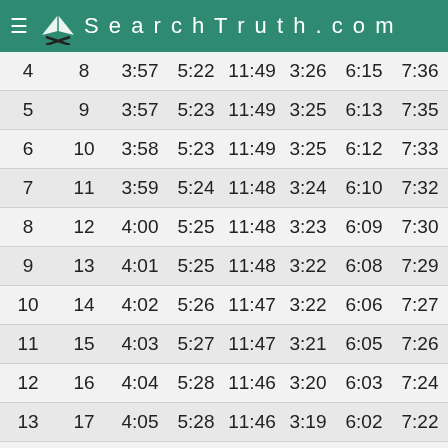SearchTruth.com
| 4 | 8 | 3:57 | 5:22 | 11:49 | 3:26 | 6:15 | 7:36 |
| 5 | 9 | 3:57 | 5:23 | 11:49 | 3:25 | 6:13 | 7:35 |
| 6 | 10 | 3:58 | 5:23 | 11:49 | 3:25 | 6:12 | 7:33 |
| 7 | 11 | 3:59 | 5:24 | 11:48 | 3:24 | 6:10 | 7:32 |
| 8 | 12 | 4:00 | 5:25 | 11:48 | 3:23 | 6:09 | 7:30 |
| 9 | 13 | 4:01 | 5:25 | 11:48 | 3:22 | 6:08 | 7:29 |
| 10 | 14 | 4:02 | 5:26 | 11:47 | 3:22 | 6:06 | 7:27 |
| 11 | 15 | 4:03 | 5:27 | 11:47 | 3:21 | 6:05 | 7:26 |
| 12 | 16 | 4:04 | 5:28 | 11:46 | 3:20 | 6:03 | 7:24 |
| 13 | 17 | 4:05 | 5:28 | 11:46 | 3:19 | 6:02 | 7:22 |
| 14 | 18 | 4:06 | 5:29 | 11:46 | 3:18 | 6:01 | 7:21 |